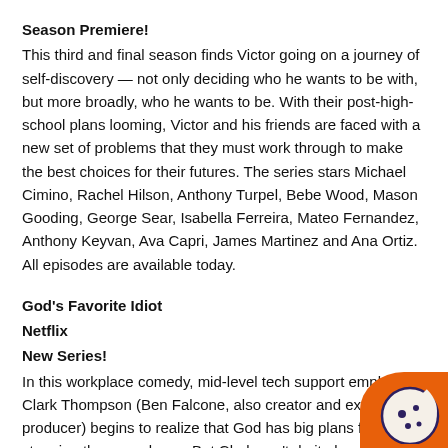Season Premiere!
This third and final season finds Victor going on a journey of self-discovery — not only deciding who he wants to be with, but more broadly, who he wants to be. With their post-high-school plans looming, Victor and his friends are faced with a new set of problems that they must work through to make the best choices for their futures. The series stars Michael Cimino, Rachel Hilson, Anthony Turpel, Bebe Wood, Mason Gooding, George Sear, Isabella Ferreira, Mateo Fernandez, Anthony Keyvan, Ava Capri, James Martinez and Ana Ortiz. All episodes are available today.
God's Favorite Idiot
Netflix
New Series!
In this workplace comedy, mid-level tech support employee Clark Thompson (Ben Falcone, also creator and executive producer) begins to realize that God has big plans for him stopping the apocalypse. But Clark can't do it alone; he m gather his flock of mismatched coworkers, including his office